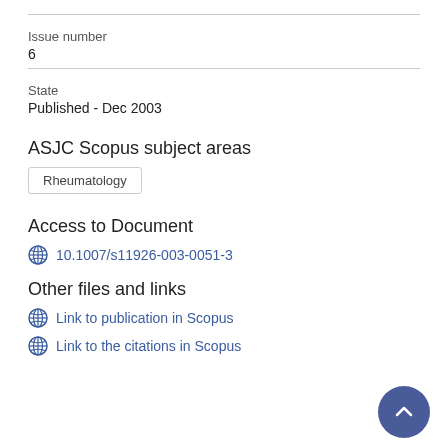Issue number
6
State
Published - Dec 2003
ASJC Scopus subject areas
Rheumatology
Access to Document
10.1007/s11926-003-0051-3
Other files and links
Link to publication in Scopus
Link to the citations in Scopus